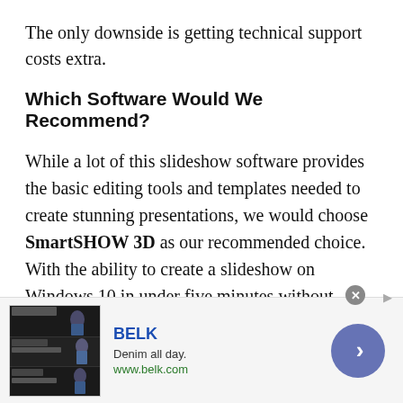The only downside is getting technical support costs extra.
Which Software Would We Recommend?
While a lot of this slideshow software provides the basic editing tools and templates needed to create stunning presentations, we would choose SmartSHOW 3D as our recommended choice. With the ability to create a slideshow on Windows 10 in under five minutes without sacrificing eye-catching 3D animations, there's really no other program that allows you to be creative in such a
[Figure (infographic): Advertisement banner for BELK featuring denim clothing images, brand name, tagline 'Denim all day.', URL www.belk.com, close button, and a blue arrow CTA button]